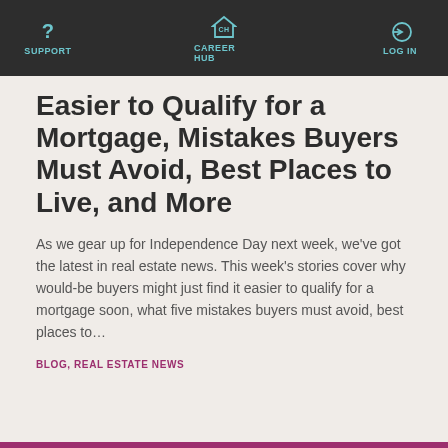SUPPORT | CAREER HUB | LOG IN
Easier to Qualify for a Mortgage, Mistakes Buyers Must Avoid, Best Places to Live, and More
As we gear up for Independence Day next week, we've got the latest in real estate news. This week's stories cover why would-be buyers might just find it easier to qualify for a mortgage soon, what five mistakes buyers must avoid, best places to…
BLOG, REAL ESTATE NEWS